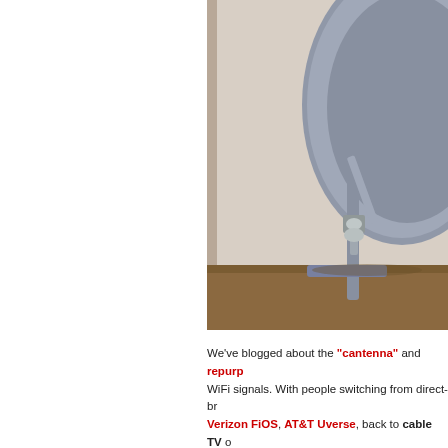[Figure (photo): Photograph of a satellite dish / cantenna mounted indoors on a wooden surface against a beige wall. The dish is gray/blue-gray with a metal mounting arm and hardware visible.]
We've blogged about the "cantenna" and repurp... WiFi signals. With people switching from direct-br... Verizon FiOS, AT&T Uverse, back to cable TV o... using free over-the-air HDTV, you might want to... something else.